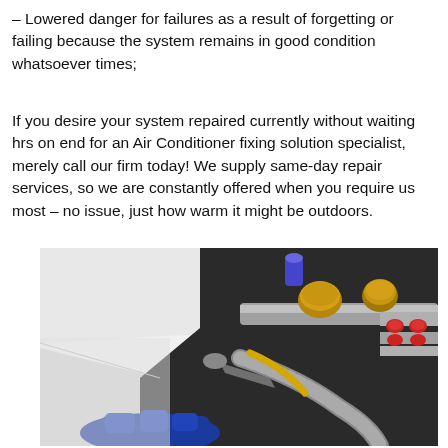– Lowered danger for failures as a result of forgetting or failing because the system remains in good condition whatsoever times;
If you desire your system repaired currently without waiting hrs on end for an Air Conditioner fixing solution specialist, merely call our firm today! We supply same-day repair services, so we are constantly offered when you require us most – no issue, just how warm it might be outdoors.
[Figure (photo): Close-up photo of an air conditioning unit's internal components showing brass fittings, metal pipes, flexible hoses, red valve caps, and a technician's hand in a blue glove working on the system.]